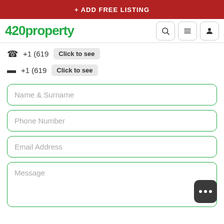+ ADD FREE LISTING
[Figure (logo): 420property green logo with navigation icons (search, menu, user)]
+1 (619  Click to see
+1 (619  Click to see
Name  & Surname
Phone Number
Email Address
Message